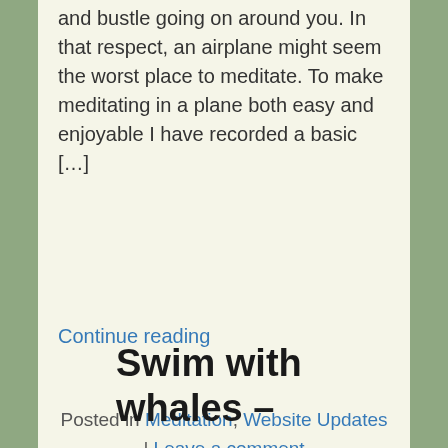and bustle going on around you. In that respect, an airplane might seem the worst place to meditate. To make meditating in a plane both easy and enjoyable I have recorded a basic […]
Continue reading
Posted in Meditation, Website Updates | Leave a comment
Swim with whales –